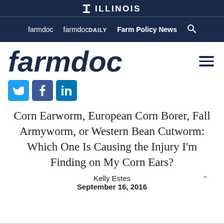I ILLINOIS | farmdoc   farmdocDAILY   Farm Policy News
farmdoc
[Figure (logo): farmdoc logo with social media icons for Twitter, Facebook, and LinkedIn]
Corn Earworm, European Corn Borer, Fall Armyworm, or Western Bean Cutworm: Which One Is Causing the Injury I'm Finding on My Corn Ears?
Kelly Estes
September 16, 2016